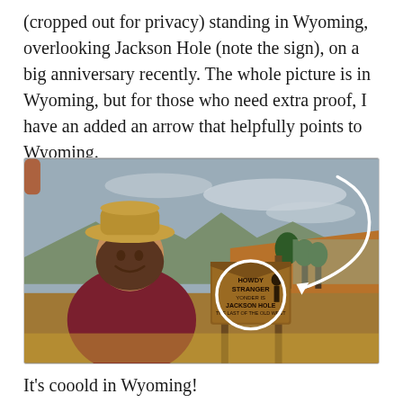(cropped out for privacy) standing in Wyoming, overlooking Jackson Hole (note the sign), on a big anniversary recently. The whole picture is in Wyoming, but for those who need extra proof, I have an added an arrow that helpfully points to Wyoming.
[Figure (photo): A woman wearing a straw cowboy hat and burgundy jacket standing outdoors near a wooden sign reading 'HOWDY STRANGER YONDER IS JACKSON HOLE THE LAST OF THE OLD WEST'. The sign is circled in white and a white curved arrow points to Wyoming in the background. Mountains and trees visible.]
It's cooold in Wyoming!